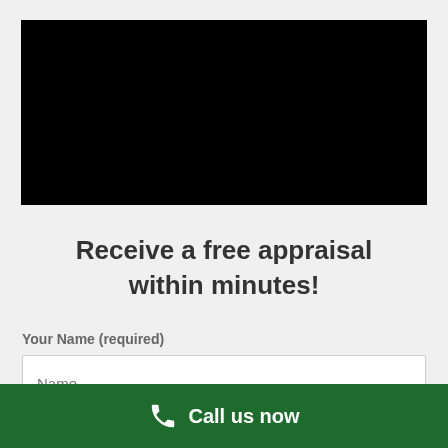[Figure (photo): Black rectangle representing a video or image placeholder]
Receive a free appraisal within minutes!
Your Name (required)
Name
Pawn
Sell
Call us now